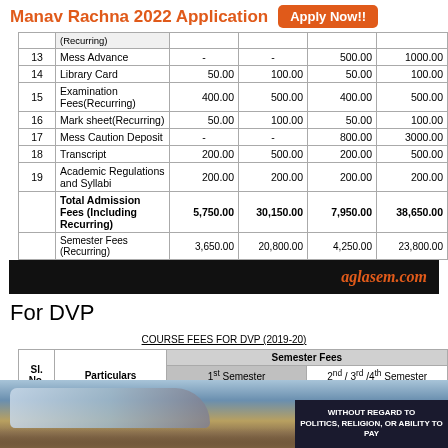Manav Rachna 2022 Application — Apply Now!!
| Sl. | Particulars | Day Scholar 1st Sem | Hosteller 1st Sem | Day Scholar 2nd/3rd/4th | Hosteller 2nd/3rd/4th |
| --- | --- | --- | --- | --- | --- |
|  | (Recurring) |  |  |  |  |
| 13 | Mess Advance | - | - | 500.00 | 1000.00 |
| 14 | Library Card | 50.00 | 100.00 | 50.00 | 100.00 |
| 15 | Examination Fees(Recurring) | 400.00 | 500.00 | 400.00 | 500.00 |
| 16 | Mark sheet(Recurring) | 50.00 | 100.00 | 50.00 | 100.00 |
| 17 | Mess Caution Deposit | - | - | 800.00 | 3000.00 |
| 18 | Transcript | 200.00 | 500.00 | 200.00 | 500.00 |
| 19 | Academic Regulations and Syllabi | 200.00 | 200.00 | 200.00 | 200.00 |
|  | Total Admission Fees (Including Recurring) | 5,750.00 | 30,150.00 | 7,950.00 | 38,650.00 |
|  | Semester Fees (Recurring) | 3,650.00 | 20,800.00 | 4,250.00 | 23,800.00 |
For DVP
COURSE FEES FOR DVP (2019-20)
| Sl. No. | Particulars | 1st Semester Day Scholar | 1st Semester Hosteller | 2nd/3rd/4th Semester Day Scholar | 2nd/3rd/4th Semester Hosteller |
| --- | --- | --- | --- | --- | --- |